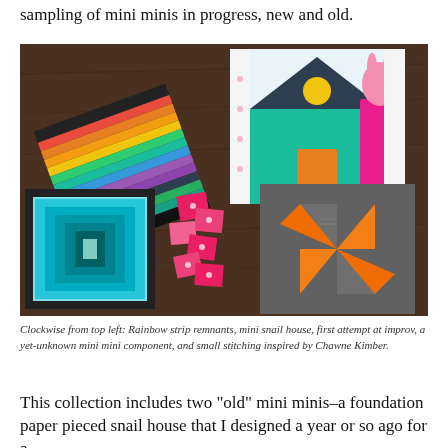sampling of mini minis in progress, new and old.
[Figure (photo): Photo of quilt blocks and fabric pieces on a wooden table: rainbow strip remnants, mini snail house quilt block, first attempt at improv, pink fabric pieces, and small stitching inspired by Chawne Kimber.]
Clockwise from top left: Rainbow strip remnants, mini snail house, first attempt at improv, a yet-unknown mini mini component, and small stitching inspired by Chawne Kimber.
This collection includes two “old” mini minis–a foundation paper pieced snail house that I designed a year or so ago for a